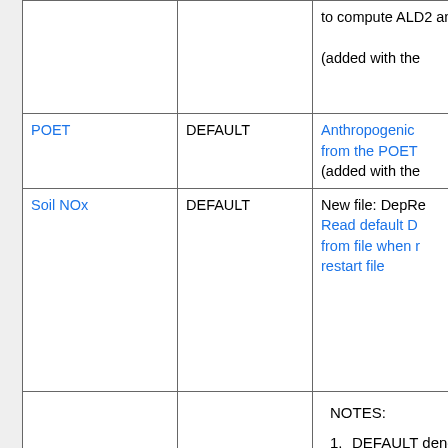| Inventory/Emission | Collection | Notes |
| --- | --- | --- |
|  |  | to compute ALD2 and B (added with the |
| POET | DEFAULT | Anthropogenic from the POET (added with the |
| Soil NOx | DEFAULT | New file: DepRe Read default D from file when r restart file |
NOTES:
DEFAULT denotes that the inventory is part of the default HEMCO emissions configuration that you get when you run GEOS-Chem "out-of-the-box".
OPTIONAL denotes optional inventories that you may use (or